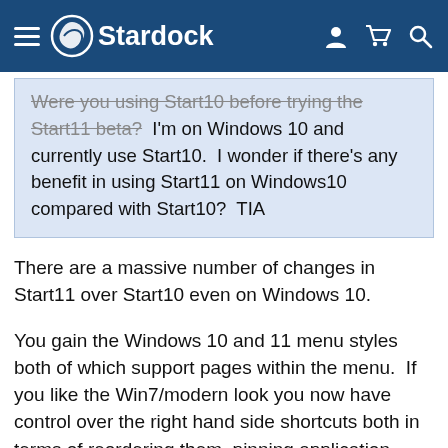Stardock
Were you using Start10 before trying the Start11 beta?  I'm on Windows 10 and currently use Start10.  I wonder if there's any benefit in using Start11 on Windows10 compared with Start10?  TIA
There are a massive number of changes in Start11 over Start10 even on Windows 10.
You gain the Windows 10 and 11 menu styles both of which support pages within the menu.  If you like the Win7/modern look you now have control over the right hand side shortcuts both in terms of reordering them, pinning application shortcuts too now, making them show icons, only icons or even hide it entirely.  It has the updated search system, grid mode for the menus now supports a number of spacing modes and the option to hide the labels.